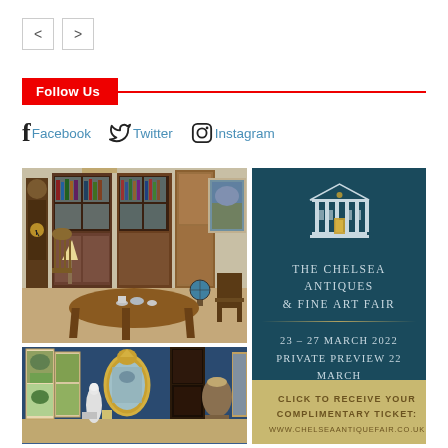< >
Follow Us
Facebook  Twitter  Instagram
[Figure (photo): Antique furniture showroom with mahogany bookcases, grandfather clock, dining table and chairs]
[Figure (photo): Antique shop display with decorative screens, gilded mirror, and ornate items against blue wall]
[Figure (illustration): The Chelsea Antiques & Fine Art Fair advertisement on dark teal background. Shows a neoclassical building illustration, dates 23-27 March 2022, Private Preview 22 March, and a gold ticket box saying Click to receive your complimentary ticket at www.chelseaantiquefair.co.uk]